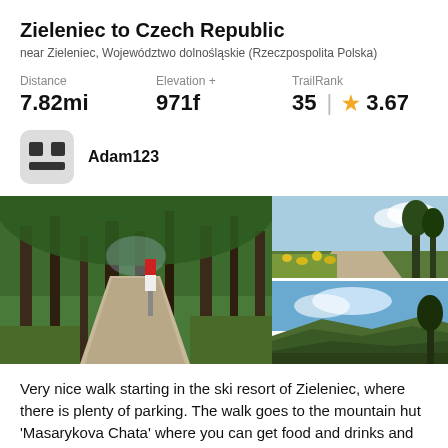Zieleniec to Czech Republic
near Zieleniec, Województwo dolnośląskie (Rzeczpospolita Polska)
Distance 7.82mi | Elevation + 971f | TrailRank 35 ★ 3.67
Adam123
[Figure (photo): Three outdoor trail photos: left large photo shows a forest path with tall pine trees; top right shows a gravel path on a hillside with wildflowers; bottom right shows a panoramic mountain landscape view under blue sky.]
Very nice walk starting in the ski resort of Zieleniec, where there is plenty of parking. The walk goes to the mountain hut 'Masarykova Chata' where you can get food and drinks and even stay the night if you have cash.
★★★